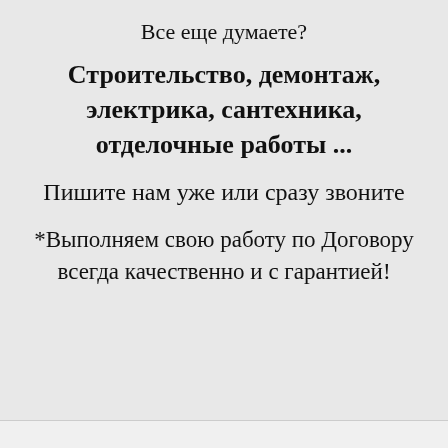Все еще думаете?
Строительство, демонтаж, электрика, сантехника, отделочные работы ...
Пишите нам уже или сразу звоните
*Выполняем свою работу по Договору всегда качественно и с гарантией!